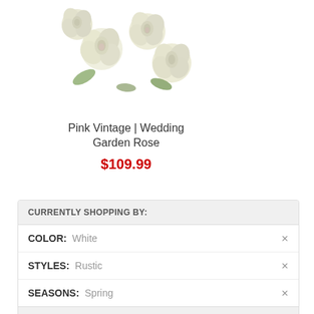[Figure (photo): Cream/white vintage garden roses bouquet photo, top portion cropped]
Pink Vintage | Wedding Garden Rose
$109.99
CURRENTLY SHOPPING BY:
COLOR: White
STYLES: Rustic
SEASONS: Spring
Clear All